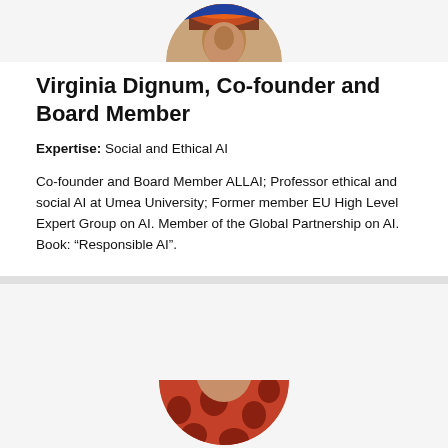[Figure (photo): Circular cropped headshot photo of Virginia Dignum, partially visible at top of page]
Virginia Dignum, Co-founder and Board Member
Expertise: Social and Ethical AI
Co-founder and Board Member ALLAI; Professor ethical and social AI at Umea University; Former member EU High Level Expert Group on AI. Member of the Global Partnership on AI. Book: “Responsible AI”.
[Figure (photo): Circular cropped headshot photo of another person, partially visible at bottom of page, wearing red patterned clothing]